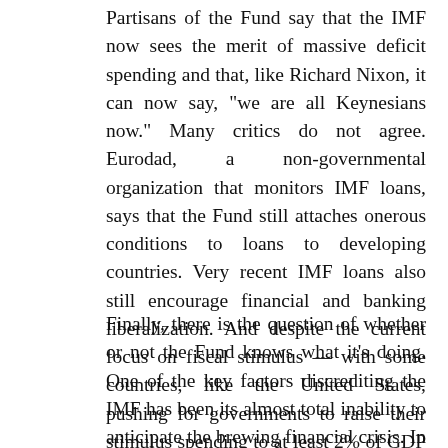Partisans of the Fund say that the IMF now sees the merit of massive deficit spending and that, like Richard Nixon, it can now say, "we are all Keynesians now." Many critics do not agree. Eurodad, a non-governmental organization that monitors IMF loans, says that the Fund still attaches onerous conditions to loans to developing countries. Very recent IMF loans also still encourage financial and banking liberalization. And despite the current focus on fiscal stimulus — with some countries, like the United States, pushing for governments to raise their stimulus spending to at least 2% of GDP — the IMF still requires low income borrowers to keep their deficit spending to no more than 1% of GDP.
Finally, there is the question of whether or not the Fund knows what it's doing. One of the key factors discrediting the IMF has been its almost total inability to anticipate the brewing financial crisis. In concluding the 2007 Article IV consultation with the United States, the